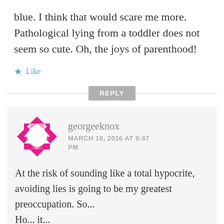blue. I think that would scare me more. Pathological lying from a toddler does not seem so cute. Oh, the joys of parenthood!
★ Like
REPLY
[Figure (logo): Geometric pink/magenta mosaic circle avatar logo for user georgeeknox]
georgeeknox
MARCH 18, 2016 AT 9:47 PM
At the risk of sounding like a total hypocrite, avoiding lies is going to be my greatest preoccupation. So... Ho... it...